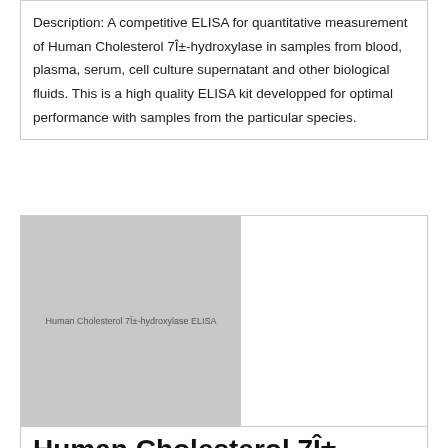Description: A competitive ELISA for quantitative measurement of Human Cholesterol 7α-hydroxylase in samples from blood, plasma, serum, cell culture supernatant and other biological fluids. This is a high quality ELISA kit developped for optimal performance with samples from the particular species.
[Figure (photo): Gray placeholder image for Human Cholesterol 7α-hydroxylase ELISA kit product photo with faint label text.]
Human Cholesterol 7α-hydroxylase ELISA kit
| E01C2516-48 | BlueGene | 1 plate of 48 wells | EUR 520 |